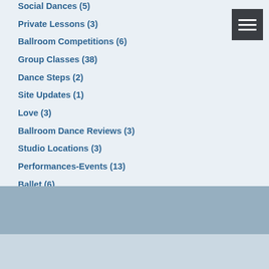Social Dances (5)
Private Lessons (3)
Ballroom Competitions (6)
Group Classes (38)
Dance Steps (2)
Site Updates (1)
Love (3)
Ballroom Dance Reviews (3)
Studio Locations (3)
Performances-Events (13)
Ballet (6)
Broadway (5)
[Figure (other): Hamburger menu icon — three horizontal white lines on dark grey background]